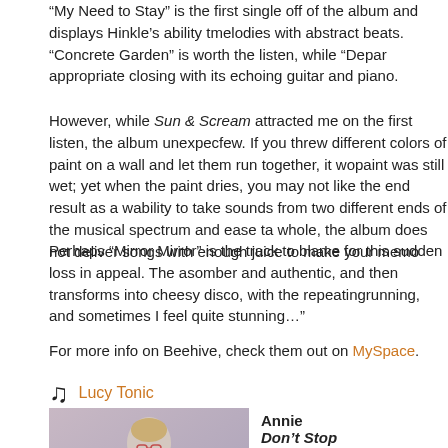“My Need to Stay” is the first single off of the album and displays Hinkle’s ability to blend melodies with abstract beats. “Concrete Garden” is worth the listen, while “Depar…” appropriate closing with its echoing guitar and piano.
However, while Sun & Scream attracted me on the first listen, the album unexpec… few. If you threw different colors of paint on a wall and let them run together, it wo… paint was still wet; yet when the paint dries, you may not like the end result as a w… ability to take sounds from two different ends of the musical spectrum and ease t… a whole, the album does not deliver songs with enough juice to make your memo…
Perhaps “Mirror Mirror” is the track to blame for this sudden loss in appeal. The a… somber and authentic, and then transforms into cheesy disco, with the repeating… running, and sometimes I feel quite stunning…”
For more info on Beehive, check them out on MySpace.
Lucy Tonic
[Figure (photo): Photo of Annie, a female artist posing with colorful clothing and accessories]
Annie
Don’t Stop
(Totally/Smalltown Supe…
[Figure (logo): Amazon.com logo with orange arrow]